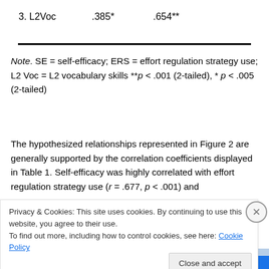| 3. L2Voc | .385* | .654** |
Note. SE = self-efficacy; ERS = effort regulation strategy use; L2 Voc = L2 vocabulary skills **p < .001 (2-tailed), * p < .005 (2-tailed)
The hypothesized relationships represented in Figure 2 are generally supported by the correlation coefficients displayed in Table 1. Self-efficacy was highly correlated with effort regulation strategy use (r = .677, p < .001) and
Privacy & Cookies: This site uses cookies. By continuing to use this website, you agree to their use.
To find out more, including how to control cookies, see here: Cookie Policy
Close and accept